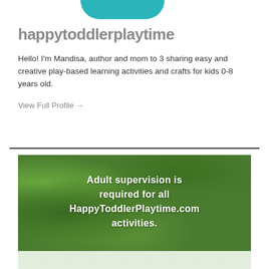[Figure (photo): Partial view of a circular profile photo with teal/turquoise color, cropped at top]
happytoddlerplaytime
Hello! I'm Mandisa, author and mom to 3 sharing easy and creative play-based learning activities and crafts for kids 0-8 years old.
View Full Profile →
[Figure (photo): Green grass background image with white bold text reading: 'Adult supervision is required for all HappyToddlerPlaytime.com activities.' The bottom portion shows a reflected/faded version of the image.]